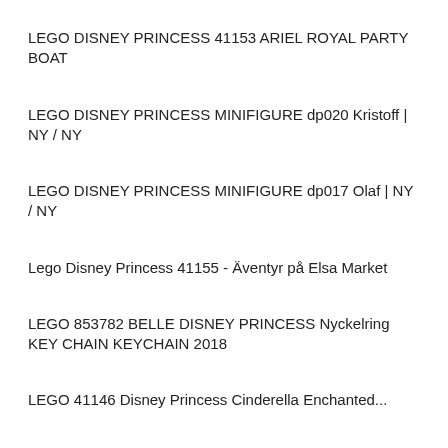LEGO DISNEY PRINCESS 41153 ARIEL ROYAL PARTY BOAT
LEGO DISNEY PRINCESS MINIFIGURE dp020 Kristoff | NY / NY
LEGO DISNEY PRINCESS MINIFIGURE dp017 Olaf | NY / NY
Lego Disney Princess 41155 - Äventyr på Elsa Market
LEGO 853782 BELLE DISNEY PRINCESS Nyckelring KEY CHAIN KEYCHAIN 2018
LEGO 41146 Disney Princess Cinderella Enchanted...